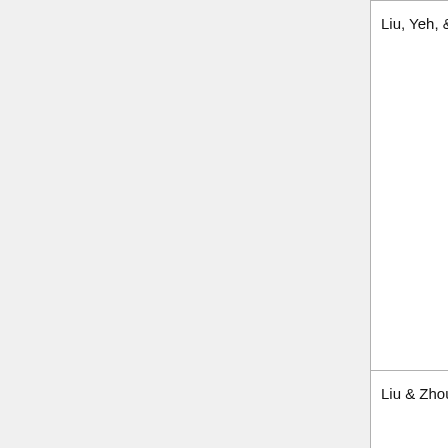| Author(s) | Year | Source |
| --- | --- | --- |
| Liu, Yeh, & Huang | 2003 | NCREE-03-026 |
| Liu & Zhou | 2010 | Journal of Construction Steel Research |
|  |  |  |